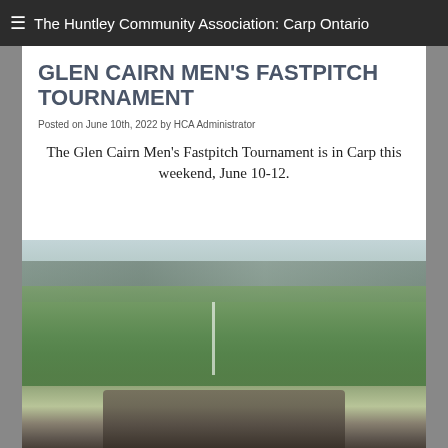≡  The Huntley Community Association: Carp Ontario
GLEN CAIRN MEN'S FASTPITCH TOURNAMENT
Posted on June 10th, 2022 by HCA Administrator
The Glen Cairn Men's Fastpitch Tournament is in Carp this weekend, June 10-12.
[Figure (photo): Outdoor softball/baseball field photo, blurred background with green grass, with athletic shoes visible in the foreground bottom of frame]